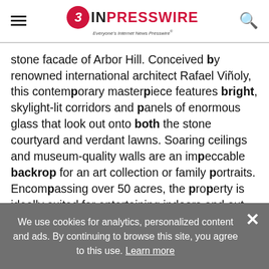EIN PRESSWIRE — Everyone's Internet News Presswire
stone facade of Arbor Hill. Conceived by renowned international architect Rafael Viñoly, this contemporary masterpiece features bright, skylight-lit corridors and panels of enormous glass that look out onto both the stone courtyard and verdant lawns. Soaring ceilings and museum-quality walls are an impeccable backdrop for an art collection or family portraits. Encompassing over 50 acres, the property is ideally suited for entertaining indoors and out. The public spaces occupy two wings,
We use cookies for analytics, personalized content and ads. By continuing to browse this site, you agree to this use. Learn more